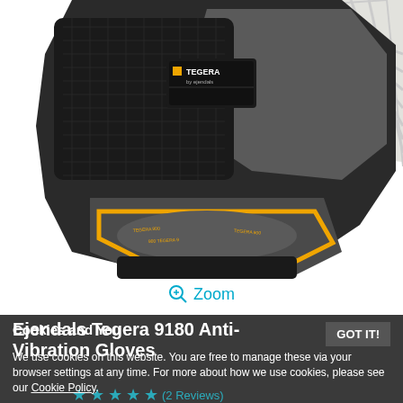[Figure (photo): Close-up product photo of Tegera 9180 Anti-Vibration gloves. The gloves are black and gray with yellow accent trim around the wrist strap area. The TEGERA brand logo is visible in yellow and white on the glove body. The gloves are photographed against a white background.]
Zoom
Ejendals Tegera 9180 Anti-Vibration Gloves
Cookies and You
We use cookies on this website. You are free to manage these via your browser settings at any time. For more about how we use cookies, please see our Cookie Policy.
GOT IT!
(2 Reviews)